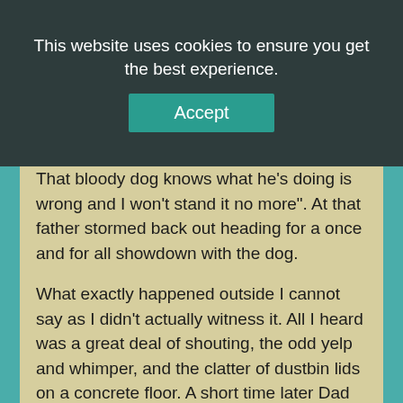This website uses cookies to ensure you get the best experience.
That bloody dog knows what he's doing is wrong and I won't stand it no more". At that father stormed back out heading for a once and for all showdown with the dog.
What exactly happened outside I cannot say as I didn't actually witness it. All I heard was a great deal of shouting, the odd yelp and whimper, and the clatter of dustbin lids on a concrete floor. A short time later Dad returned with his right hand covered in blood. Mom took one look at Dad, called him something I didn't then understand, and which now I would not repeat, and headed at full speed to find the dog without giving Dad a chance to utter a single